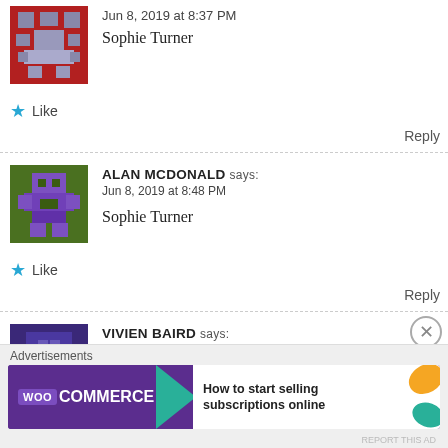[Figure (illustration): Pixel art avatar, red/grey checker pattern]
Jun 8, 2019 at 8:37 PM
Sophie Turner
Like
Reply
[Figure (illustration): Pixel art avatar, green background with purple figure]
ALAN MCDONALD says:
Jun 8, 2019 at 8:48 PM
Sophie Turner
Like
Reply
[Figure (illustration): Pixel art avatar, dark purple/mauve pattern]
VIVIEN BAIRD says:
Jun 8, 2019 at 9:04 PM
Sophie Turner
Advertisements
[Figure (illustration): WooCommerce advertisement banner: How to start selling subscriptions online]